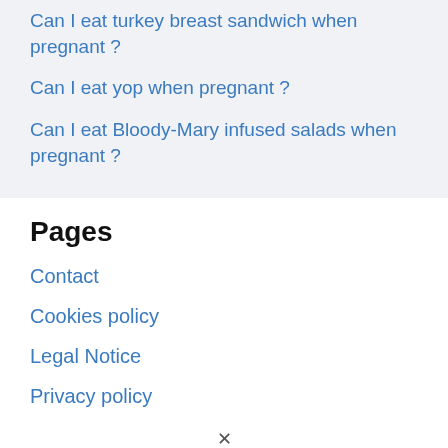Can I eat turkey breast sandwich when pregnant ?
Can I eat yop when pregnant ?
Can I eat Bloody-Mary infused salads when pregnant ?
Pages
Contact
Cookies policy
Legal Notice
Privacy policy